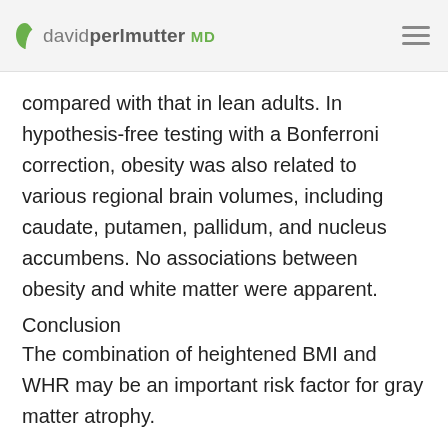david perlmutter MD
compared with that in lean adults. In hypothesis-free testing with a Bonferroni correction, obesity was also related to various regional brain volumes, including caudate, putamen, pallidum, and nucleus accumbens. No associations between obesity and white matter were apparent.
Conclusion
The combination of heightened BMI and WHR may be an important risk factor for gray matter atrophy.